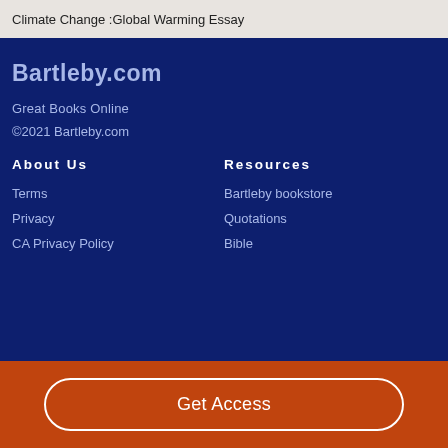Climate Change :Global Warming Essay
Bartleby.com
Great Books Online
©2021 Bartleby.com
About Us
Resources
Terms
Bartleby bookstore
Privacy
Quotations
CA Privacy Policy
Bible
Get Access